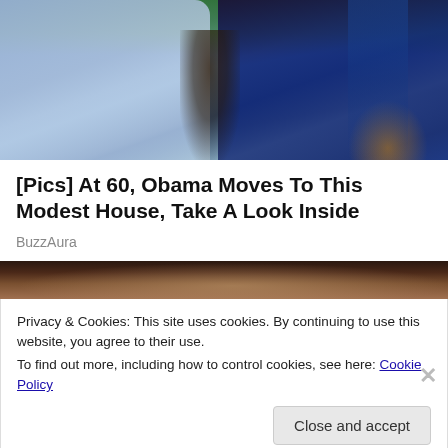[Figure (photo): Two people photographed outdoors, a man in a light blue checkered shirt on the left and a woman in a blue top on the right, with green trees and foliage in the background]
[Pics] At 60, Obama Moves To This Modest House, Take A Look Inside
BuzzAura
[Figure (photo): Partial photo showing hands, cropped, dark toned background]
Privacy & Cookies: This site uses cookies. By continuing to use this website, you agree to their use.
To find out more, including how to control cookies, see here: Cookie Policy
Close and accept